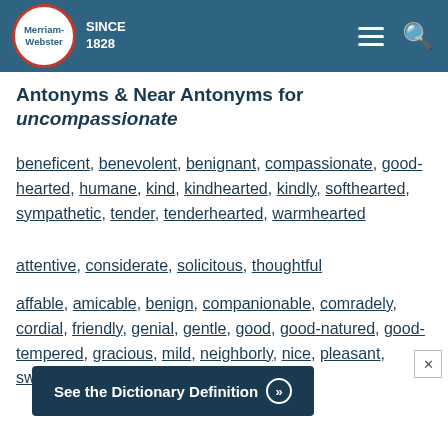Merriam-Webster SINCE 1828
Antonyms & Near Antonyms for uncompassionate
beneficent, benevolent, benignant, compassionate, good-hearted, humane, kind, kindhearted, kindly, softhearted, sympathetic, tender, tenderhearted, warmhearted
attentive, considerate, solicitous, thoughtful
affable, amicable, benign, companionable, comradely, cordial, friendly, genial, gentle, good, good-natured, good-tempered, gracious, mild, neighborly, nice, pleasant, sweet, warm
See the Dictionary Definition